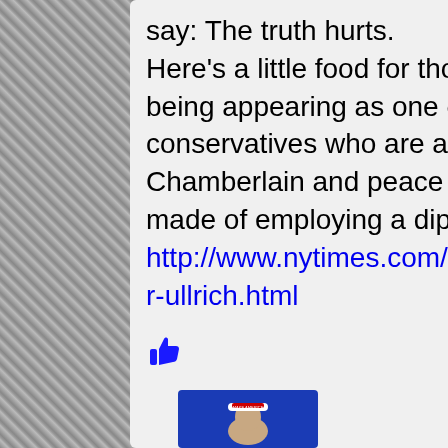say: The truth hurts.
Here's a little food for thought.. I'm putting it out at the risk being appearing as one of those intellectually hobbled conservatives who are always about screaming about Neville Chamberlain and peace in our times whenever any mention is made of employing a diplomatic approach to resolve conflict.
http://www.nytimes.com/2016/09/28/books/hitler-ascent-volker-ullrich.html
[Figure (illustration): Thumbs up icon in blue]
[Figure (photo): Avatar photo of a person wearing a white cap against blue background]